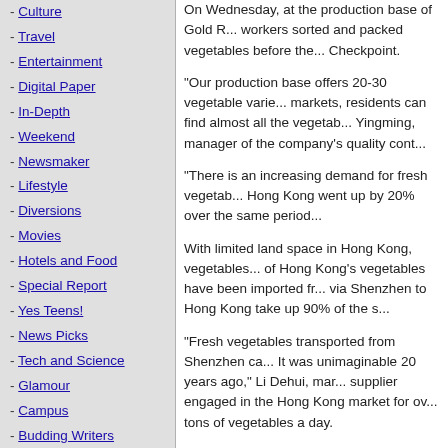- Culture
- Travel
- Entertainment
- Digital Paper
- In-Depth
- Weekend
- Newsmaker
- Lifestyle
- Diversions
- Movies
- Hotels and Food
- Special Report
- Yes Teens!
- News Picks
- Tech and Science
- Glamour
- Campus
- Budding Writers
- Fun
- Qianhai
- Advertorial
- CHTF Special
- Futian Today
On Wednesday, at the production base of Gold R... workers sorted and packed vegetables before the... Checkpoint.
“Our production base offers 20-30 vegetable varie... markets, residents can find almost all the vegetab... Yingming, manager of the company’s quality cont...
“There is an increasing demand for fresh vegetab... Hong Kong went up by 20% over the same period...
With limited land space in Hong Kong, vegetables... of Hong Kong’s vegetables have been imported f... via Shenzhen to Hong Kong take up 90% of the s...
“Fresh vegetables transported from Shenzhen ca... It was unimaginable 20 years ago,” Li Dehui, mar... supplier engaged in the Hong Kong market for ov... tons of vegetables a day.